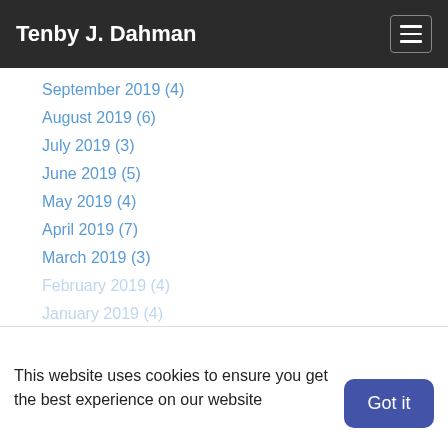Tenby J. Dahman
September 2019 (4)
August 2019 (6)
July 2019 (3)
June 2019 (5)
May 2019 (4)
April 2019 (7)
March 2019 (3)
February 2019 (4)
January 2019 (4)
December 2018 (5)
November 2018 (9)
October 2018 (10)
September 2018 (5)
August 2018 (12)
July 2018 (8)
This website uses cookies to ensure you get the best experience on our website